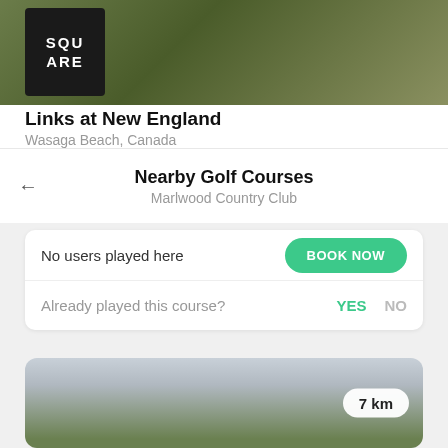[Figure (screenshot): Golf course header image with green background and logo box showing SQU/ARE text]
Links at New England
Wasaga Beach, Canada
Nearby Golf Courses
Marlwood Country Club
No users played here
BOOK NOW
Already played this course?
YES  NO
[Figure (photo): Golf course landscape photo with cloudy sky and green hills, 7 km badge]
7 km